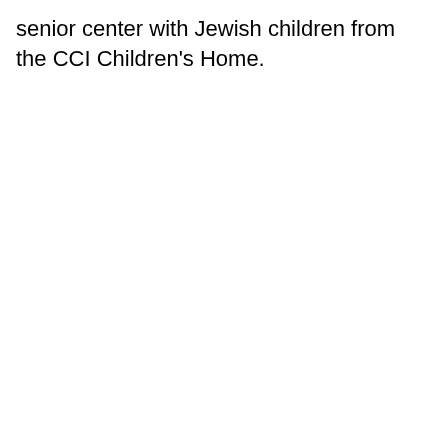senior center with Jewish children from the CCI Children's Home.